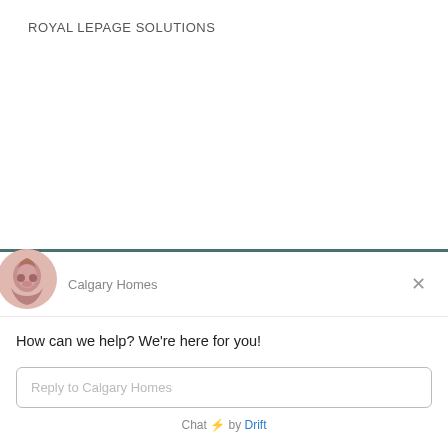ROYAL LEPAGE SOLUTIONS
[Figure (screenshot): Chat widget popup from Calgary Homes showing greeting message and reply input field powered by Drift]
How can we help? We're here for you!
Reply to Calgary Homes
Chat ⚡ by Drift